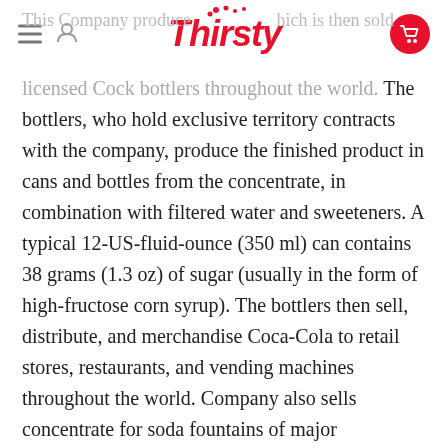Thirsty
This Company produces concentrate which is then sold to licensed Cock bottlers throughout the world. The bottlers, who hold exclusive territory contracts with the company, produce the finished product in cans and bottles from the concentrate, in combination with filtered water and sweeteners. A typical 12-US-fluid-ounce (350 ml) can contains 38 grams (1.3 oz) of sugar (usually in the form of high-fructose corn syrup). The bottlers then sell, distribute, and merchandise Coca-Cola to retail stores, restaurants, and vending machines throughout the world. Company also sells concentrate for soda fountains of major restaurants and foodservice distributors. Coke products were sold in over 200 countries worldwide, with consumers drinking more than 1.8 billion company beverage servings each day. Coca-Cola ranked No. 87 in the 2018 Fortune 500 list of the largest United States corporations by total revenue.